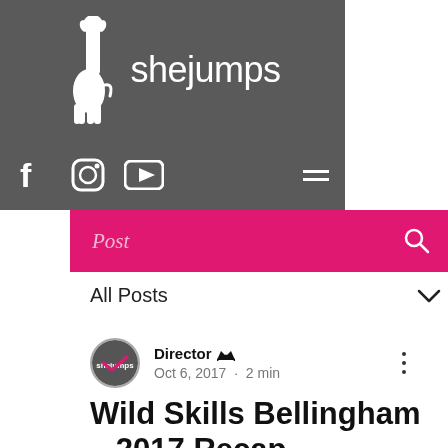[Figure (logo): SheJumps logo with white giraffe/unicorn silhouette and 'shejumps' text on dark gray background]
[Figure (screenshot): Social media icons: Facebook (f), Instagram (circle camera), YouTube (play button) on dark gray bar, with hamburger menu icon on right]
Post
All Posts
Director 👑 Oct 6, 2017 · 2 min
Wild Skills Bellingham – 2017 Recap